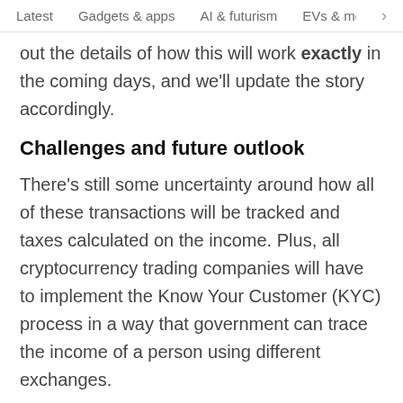Latest   Gadgets & apps   AI & futurism   EVs & mobil  >
out the details of how this will work exactly in the coming days, and we'll update the story accordingly.
Challenges and future outlook
There's still some uncertainty around how all of these transactions will be tracked and taxes calculated on the income. Plus, all cryptocurrency trading companies will have to implement the Know Your Customer (KYC) process in a way that government can trace the income of a person using different exchanges.
Nitin Sharma, the global blockchain lead at investment firm Antler, said there's no clarity around how the government plans to regulate foreign